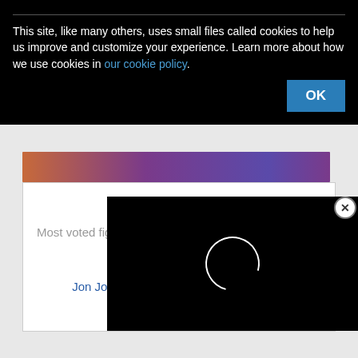This site, like many others, uses small files called cookies to help us improve and customize your experience. Learn more about how we use cookies in our cookie policy.
[Figure (screenshot): Purple and orange image banner strip at top of content]
Most voted fights
Shogun Rua vs Henderson
Jon Jones vs Lyoto Machida CLOSE
BJ Penn vs Nick Diaz
[Figure (screenshot): Black video player overlay with white partial circle loading spinner]
[Figure (other): Close button (X) circle for video overlay]